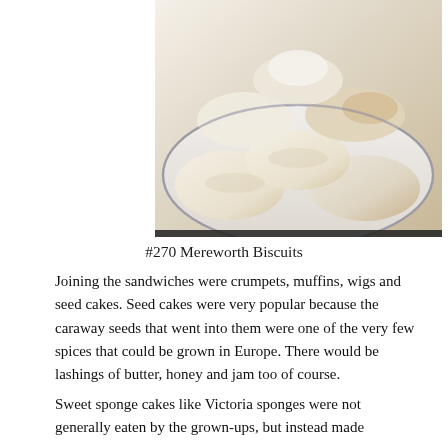[Figure (photo): Photo of Mereworth Biscuits — pale, oval-shaped baked biscuits arranged on a white plate, some with light golden-brown edges]
#270 Mereworth Biscuits
Joining the sandwiches were crumpets, muffins, wigs and seed cakes. Seed cakes were very popular because the caraway seeds that went into them were one of the very few spices that could be grown in Europe. There would be lashings of butter, honey and jam too of course.
Sweet sponge cakes like Victoria sponges were not generally eaten by the grown-ups, but instead made